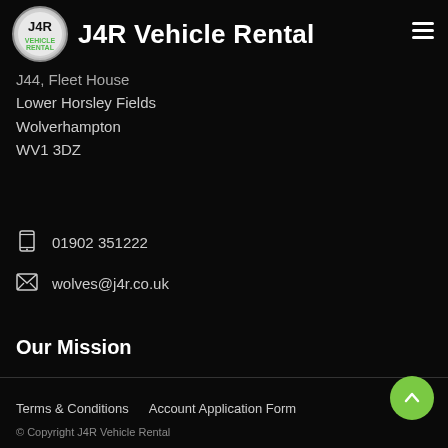J4R Vehicle Rental
J44, Fleet House
Lower Horsley Fields
Wolverhampton
WV1 3DZ
01902 351222
wolves@j4r.co.uk
Our Mission
Our mission is to make hiring a vehicle as simple and efficient as driving your own vehicle.
Terms & Conditions   Account Application Form